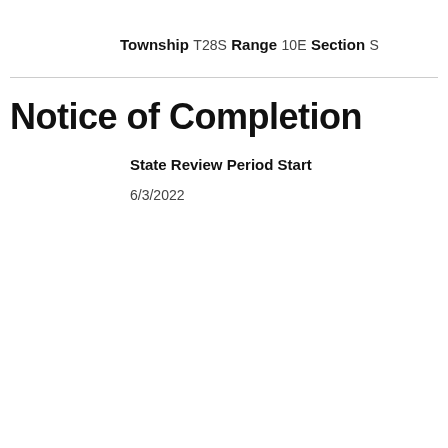Township
T28S
Range
10E
Section
S
Notice of Completion
State Review Period Start
6/3/2022